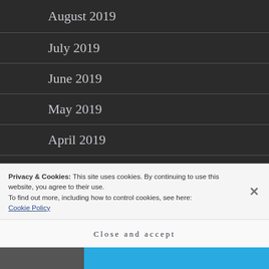August 2019
July 2019
June 2019
May 2019
April 2019
March 2019
February 2019
January 2019
Privacy & Cookies: This site uses cookies. By continuing to use this website, you agree to their use.
To find out more, including how to control cookies, see here: Cookie Policy
Close and accept